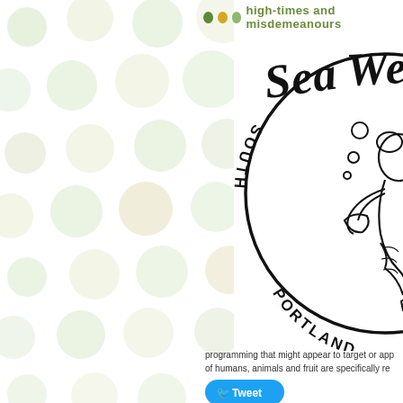high-times and misdemeanours
[Figure (logo): SeaWeed South Portland circular logo featuring a mermaid holding a shell with bubbles, text reading SOUTH PORTLAND around the bottom arc]
programming that might appear to target or app of humans, animals and fruit are specifically re
[Figure (other): Twitter Tweet button]